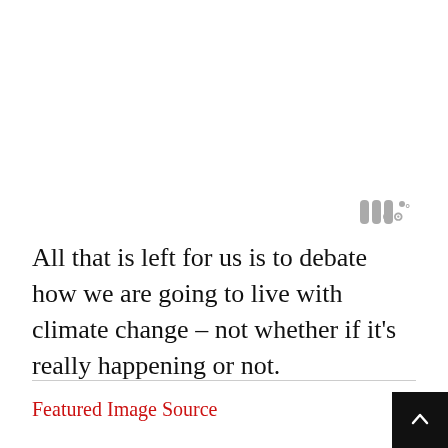[Figure (other): Decorative quotation mark icon in gray, positioned upper right]
All that is left for us is to debate how we are going to live with climate change – not whether if it's really happening or not.
Featured Image Source